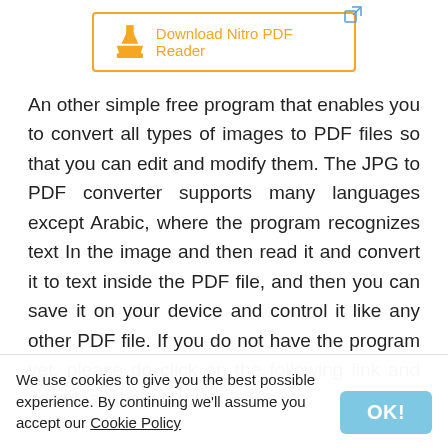[Figure (other): Download Nitro PDF Reader button with orange border and download icon, plus external link icon in top-right corner]
An other simple free program that enables you to convert all types of images to PDF files so that you can edit and modify them. The JPG to PDF converter supports many languages except Arabic, where the program recognizes text In the image and then read it and convert it to text inside the PDF file, and then you can save it on your device and control it like any other PDF file. If you do not have the program yet, please do click on the following link and download the latest
We use cookies to give you the best possible experience. By continuing we'll assume you accept our Cookie Policy